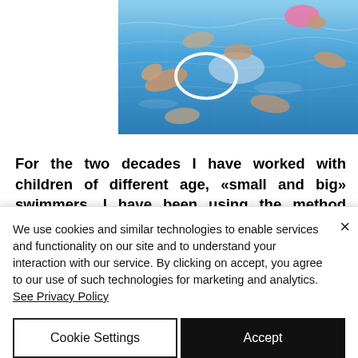[Figure (photo): Children swimming in a pool, viewed from above. A white ring/hoop is visible in the water. Children are wearing swimwear, hands and arms visible in blue water.]
For the two decades I have worked with children of different age, «small and big» swimmers, I have been using the method called «our secrets from the pool's edge». Before we start with the class, I enjoy sitting with them at the pool's edge and discussing «important»
We use cookies and similar technologies to enable services and functionality on our site and to understand your interaction with our service. By clicking on accept, you agree to our use of such technologies for marketing and analytics. See Privacy Policy